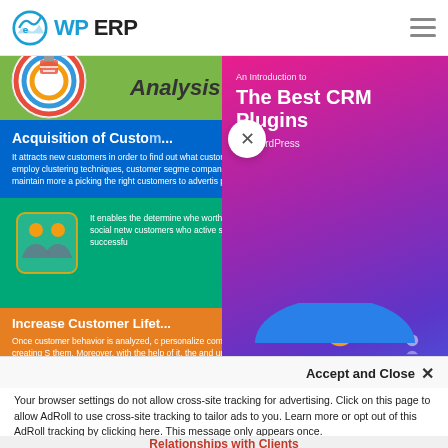WP ERP
[Figure (infographic): Infographic showing CRM customer analysis sections: Analysis header with circular icon, Acquisition of Customer section in blue, social network/customer icon section in teal, Increase Customer Lifetime section in orange, and credit card section in red at bottom]
[Figure (illustration): CRM plugin popup/overlay: gradient background (pink to purple to blue), titled 'An Introduction to The Best CRM Plugins for WordPress' with CRM 3D letter illustration at bottom]
Accept and Close ✕
Your browser settings do not allow cross-site tracking for advertising. Click on this page to allow AdRoll to use cross-site tracking to tailor ads to you. Learn more or opt out of this AdRoll tracking by clicking here. This message only appears once.
Relationships with Clients